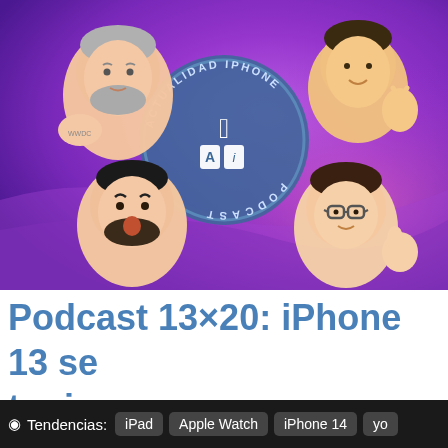[Figure (illustration): Podcast cover art for 'Actualidad iPhone Podcast' on a purple/magenta gradient background, featuring four cartoon memoji-style character heads and a circular logo in the center with 'ACTUALIDAD IPHONE PODCAST' text and an Apple icon with 'Ai' initials.]
Podcast 13×20: iPhone 13 se toujou wa a
Tendencias: iPad  Apple Watch  iPhone 14  yo